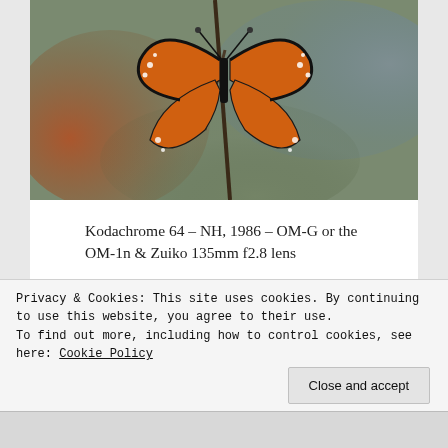[Figure (photo): Close-up photograph of a monarch butterfly perched on a twig, with blurred colorful background]
Kodachrome 64 – NH, 1986 – OM-G or the OM-1n & Zuiko 135mm f2.8 lens
Shutter action
Speed
[Figure (other): Advertisement banner with logo and button]
Privacy & Cookies: This site uses cookies. By continuing to use this website, you agree to their use.
To find out more, including how to control cookies, see here: Cookie Policy
Close and accept